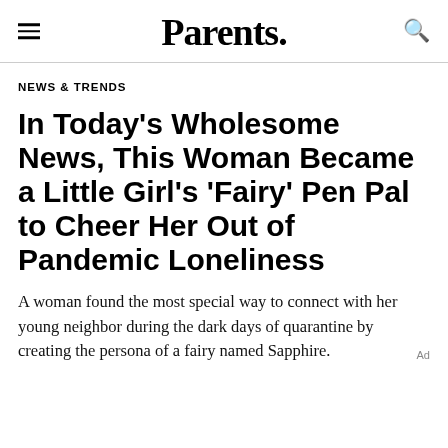Parents.
NEWS & TRENDS
In Today's Wholesome News, This Woman Became a Little Girl's 'Fairy' Pen Pal to Cheer Her Out of Pandemic Loneliness
A woman found the most special way to connect with her young neighbor during the dark days of quarantine by creating the persona of a fairy named Sapphire.